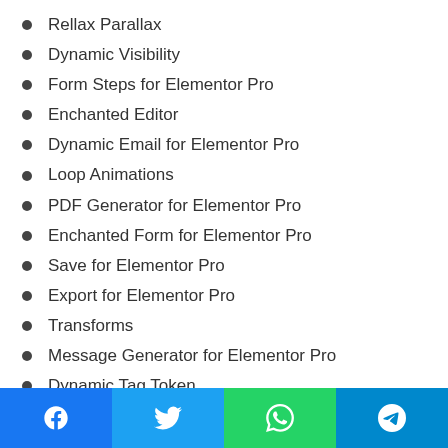Rellax Parallax
Dynamic Visibility
Form Steps for Elementor Pro
Enchanted Editor
Dynamic Email for Elementor Pro
Loop Animations
PDF Generator for Elementor Pro
Enchanted Form for Elementor Pro
Save for Elementor Pro
Export for Elementor Pro
Transforms
Message Generator for Elementor Pro
Dynamic Tag Token